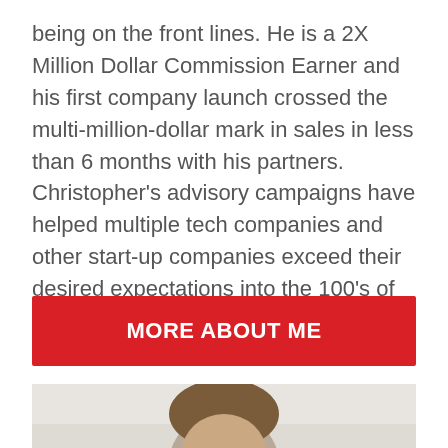being on the front lines. He is a 2X Million Dollar Commission Earner and his first company launch crossed the multi-million-dollar mark in sales in less than 6 months with his partners. Christopher's advisory campaigns have helped multiple tech companies and other start-up companies exceed their desired expectations into the 100's of millions in the public markets.
MORE ABOUT ME
[Figure (photo): Partial photo of a person, showing the top of their head with brown hair, against a light background. Image is cropped at the bottom of the page.]